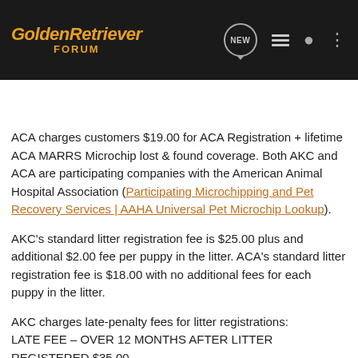GoldenRetriever FORUM
ACA charges customers $19.00 for ACA Registration + lifetime ACA MARRS Microchip lost & found coverage. Both AKC and ACA are participating companies with the American Animal Hospital Association (Participating Microchipping and Pet Recovery Services | AAHA Universal Pet Microchip Lookup).
AKC's standard litter registration fee is $25.00 plus and additional $2.00 fee per puppy in the litter. ACA's standard litter registration fee is $18.00 with no additional fees for each puppy in the litter.
AKC charges late-penalty fees for litter registrations:
LATE FEE – OVER 12 MONTHS AFTER LITTER REGISTERED $35.00
LATE FEE – OVER 24 MONTHS AFTER LITTER REGISTERED $65.00